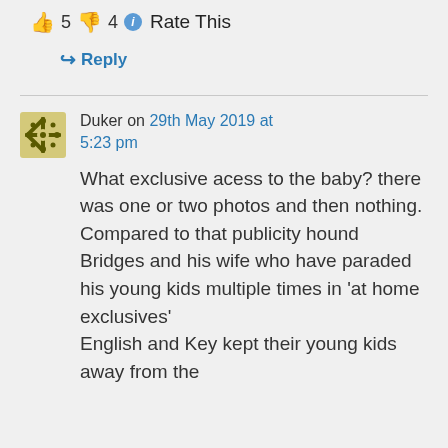👍 5 👎 4 ℹ Rate This
↪ Reply
Duker on 29th May 2019 at 5:23 pm
What exclusive acess to the baby? there was one or two photos and then nothing. Compared to that publicity hound Bridges and his wife who have paraded his young kids multiple times in 'at home exclusives' English and Key kept their young kids away from the